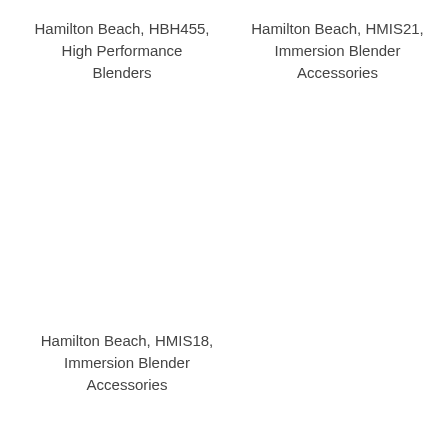Hamilton Beach, HBH455, High Performance Blenders
Hamilton Beach, HMIS21, Immersion Blender Accessories
Hamilton Beach, HMIS18, Immersion Blender Accessories